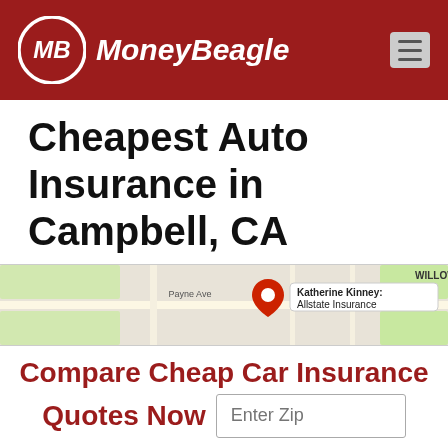[Figure (logo): MoneyBeagle logo on dark red header background with MB circle logo and hamburger menu icon]
Cheapest Auto Insurance in Campbell, CA
[Figure (map): Google Maps screenshot showing street map with Katherine Kinney: Allstate Insurance location pin, Payne Ave, Minnesota Ave, WILLOW label, and road grid]
Compare Cheap Car Insurance Quotes Now
Enter Zip
Get Rates >